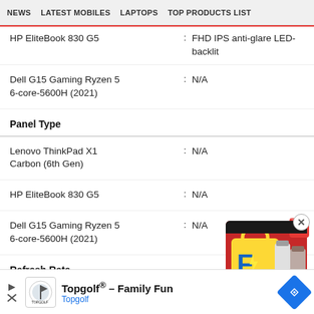NEWS   LATEST MOBILES   LAPTOPS   TOP PRODUCTS LIST
HP EliteBook 830 G5 : FHD IPS anti-glare LED-backlit
Dell G15 Gaming Ryzen 5 6-core-5600H (2021) : N/A
Panel Type
Lenovo ThinkPad X1 Carbon (6th Gen) : N/A
HP EliteBook 830 G5 : N/A
Dell G15 Gaming Ryzen 5 6-core-5600H (2021) : N/A
Refresh Rate
[Figure (illustration): Flipkart promotional box illustration with yellow bag, kitchen appliances, and red cube]
Topgolf® - Family Fun Topgolf